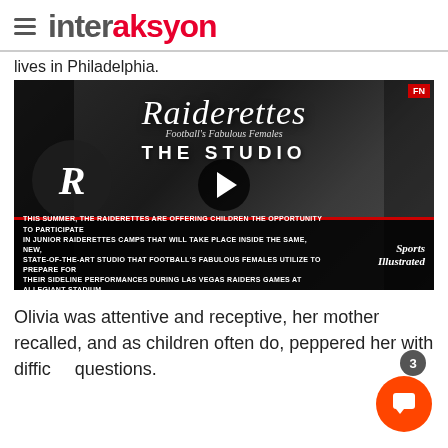interaksyon
lives in Philadelphia.
[Figure (screenshot): Video thumbnail for Raiderettes The Studio promotional video by Sports Illustrated. Caption reads: THIS SUMMER, THE RAIDERETTES ARE OFFERING CHILDREN THE OPPORTUNITY TO PARTICIPATE IN JUNIOR RAIDERETTES CAMPS THAT WILL TAKE PLACE INSIDE THE SAME, NEW, STATE-OF-THE-ART STUDIO THAT FOOTBALL'S FABULOUS FEMALES UTILIZE TO PREPARE FOR THEIR SIDELINE PERFORMANCES DURING LAS VEGAS RAIDERS GAMES AT ALLEGIANT STADIUM.]
Olivia was attentive and receptive, her mother recalled, and as children often do, peppered her with difficult questions.